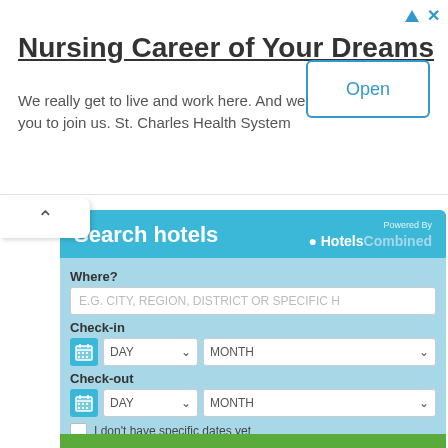[Figure (screenshot): Advertisement banner for St. Charles Health System nursing careers with Open button]
Nursing Career of Your Dreams
We really get to live and work here. And we invite you to join us. St. Charles Health System
[Figure (screenshot): Hotel search widget powered by HotelsCombined with fields: Where?, Check-in (Day/Month), Check-out (Day/Month), checkbox for no specific dates, Guests (2 Adults in 1 Room)]
Search hotels
Where?
E.G. CITY, REGION, DISTRICT OR SPECIFIC H
Check-in
DAY
MONTH
Check-out
DAY
MONTH
I don't have specific dates yet
Guests
2 ADULTS IN 1 ROOM